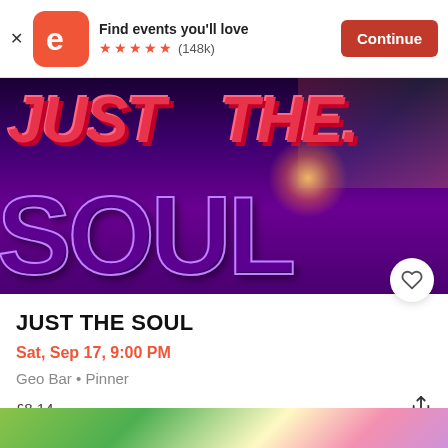[Figure (screenshot): Eventbrite app banner with logo, 'Find events you’ll love' text, 5-star rating (148k reviews), and Continue button]
[Figure (photo): Event promotional image showing 'JUST THE SOUL' text in large stylized letters on dark purple background with colorful elements and a bright light flare]
JUST THE SOUL
Sat, Sep 17, 9:00 PM
Geo Bar • Pinner
£8.14
[Figure (photo): Partial bottom image showing colorful scene, cut off at page bottom]